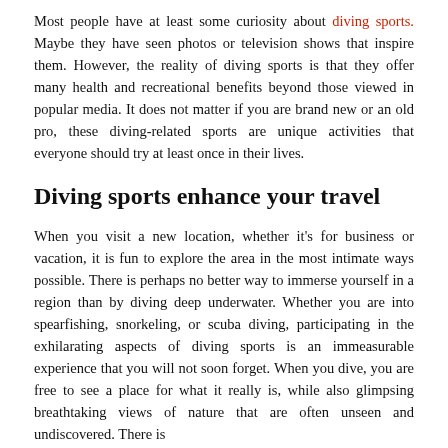Most people have at least some curiosity about diving sports. Maybe they have seen photos or television shows that inspire them. However, the reality of diving sports is that they offer many health and recreational benefits beyond those viewed in popular media. It does not matter if you are brand new or an old pro, these diving-related sports are unique activities that everyone should try at least once in their lives.
Diving sports enhance your travel
When you visit a new location, whether it's for business or vacation, it is fun to explore the area in the most intimate ways possible. There is perhaps no better way to immerse yourself in a region than by diving deep underwater. Whether you are into spearfishing, snorkeling, or scuba diving, participating in the exhilarating aspects of diving sports is an immeasurable experience that you will not soon forget. When you dive, you are free to see a place for what it really is, while also glimpsing breathtaking views of nature that are often unseen and undiscovered. There is